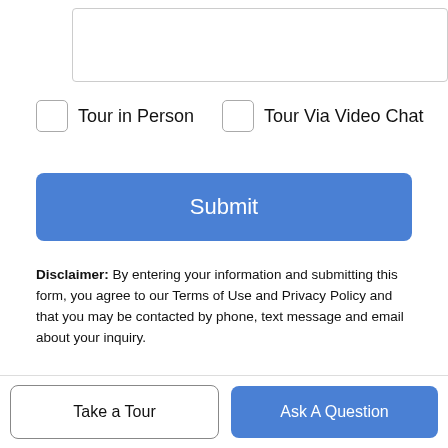[Figure (screenshot): Text area input box, partially visible at top of page]
Tour in Person   Tour Via Video Chat
Submit
Disclaimer: By entering your information and submitting this form, you agree to our Terms of Use and Privacy Policy and that you may be contacted by phone, text message and email about your inquiry.
Based on information from California Regional Multiple Listing Service, Inc. as of 2022-09-05T18:27:09.627. This information is for your personal, non-commercial use and may not be used for any purpose other than to identify prospective properties you may be interested in purchasing. Display of MLS data is deemed reliable but is not guaranteed accurate by the MLS or Brandon Real Estate Group | Anvil Real Estate. Licensed in the State of
Take a Tour
Ask A Question